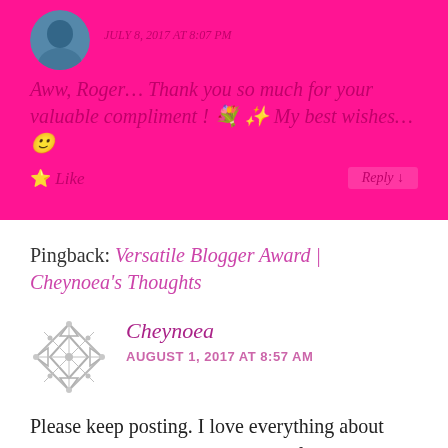JULY 8, 2017 AT 8:07 PM
Aww, Roger… Thank you so much for your valuable compliment ! 💐 ✨ My best wishes… 🙂
⭐ Like   Reply
Pingback: Versatile Blogger Award | Cheynoea's Thoughts
Cheynoea
AUGUST 1, 2017 AT 8:57 AM
Please keep posting. I love everything about your blog. I have nominated you for The Versatile Blogger